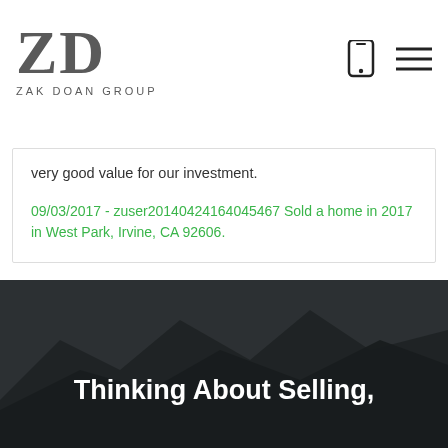[Figure (logo): ZD Zak Doan Group logo with stylized ZD letters and phone/menu icons in header]
very good value for our investment.
09/03/2017 - zuser20140424164045467 Sold a home in 2017 in West Park, Irvine, CA 92606.
Thinking About Selling,